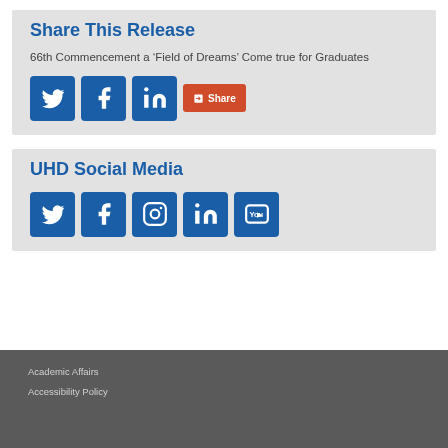Share This Release
66th Commencement a ‘Field of Dreams’ Come true for Graduates
[Figure (infographic): Social share icons: Twitter, Facebook, LinkedIn, and a red Share button]
UHD Social Media
[Figure (infographic): Social media icons: Twitter, Facebook, Instagram, LinkedIn, YouTube]
Academic Affairs
Accessibility Policy